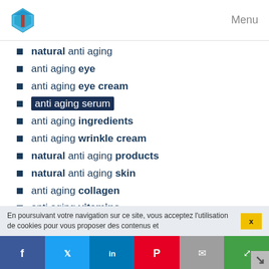Menu
natural anti aging
anti aging eye
anti aging eye cream
anti aging serum
anti aging ingredients
anti aging wrinkle cream
natural anti aging products
natural anti aging skin
anti aging collagen
anti aging vitamins
anti aging secrets
hyaluronic acid anti aging
anti aging cream ingredients
prescription anti aging
skincare anti aging
En poursuivant votre navigation sur ce site, vous acceptez l'utilisation de cookies pour vous proposer des contenus et